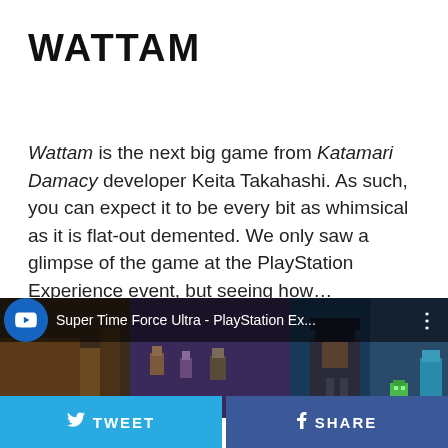WATTAM
Wattam is the next big game from Katamari Damacy developer Keita Takahashi. As such, you can expect it to be every bit as whimsical as it is flat-out demented. We only saw a glimpse of the game at the PlayStation Experience event, but seeing how… explosive… it got by the end, we're excited to see what comes next.
[Figure (screenshot): YouTube video thumbnail showing Super Time Force Ultra - PlayStation Ex... with PlayStation logo on blue circle, pixel art game characters visible in background]
TWEET   SHARE